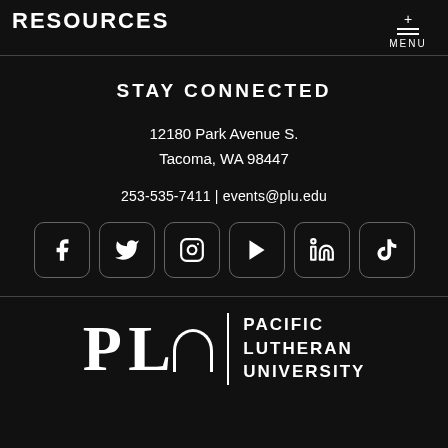RESOURCES
STAY CONNECTED
12180 Park Avenue S.
Tacoma, WA 98447
253-535-7411 | events@plu.edu
[Figure (other): Social media icon buttons: Facebook, Twitter, Instagram, YouTube, LinkedIn, TikTok]
[Figure (logo): Pacific Lutheran University (PLU) logo with stylized PLU letters and full university name]